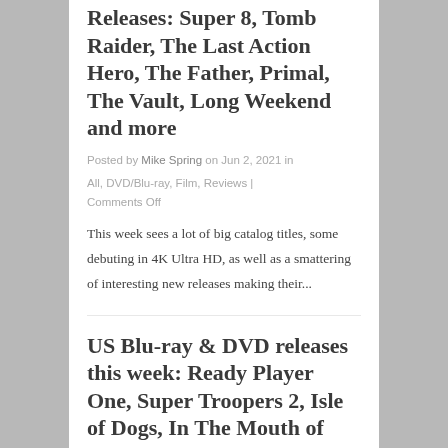Releases: Super 8, Tomb Raider, The Last Action Hero, The Father, Primal, The Vault, Long Weekend and more
Posted by Mike Spring on Jun 2, 2021 in
All, DVD/Blu-ray, Film, Reviews |
Comments Off
This week sees a lot of big catalog titles, some debuting in 4K Ultra HD, as well as a smattering of interesting new releases making their...
US Blu-ray & DVD releases this week: Ready Player One, Super Troopers 2, Isle of Dogs, In The Mouth of Madness and more